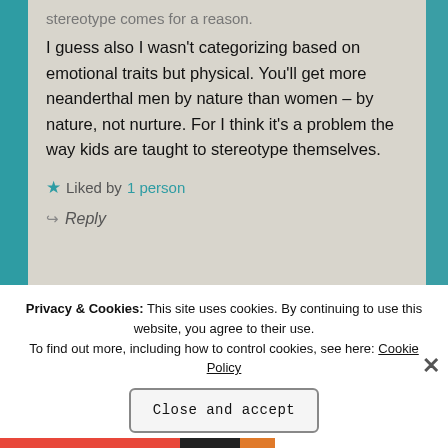stereotype comes for a reason.

I guess also I wasn't categorizing based on emotional traits but physical. You'll get more neanderthal men by nature than women – by nature, not nurture. For I think it's a problem the way kids are taught to stereotype themselves.
★ Liked by 1 person
↪ Reply
Privacy & Cookies: This site uses cookies. By continuing to use this website, you agree to their use. To find out more, including how to control cookies, see here: Cookie Policy
Close and accept